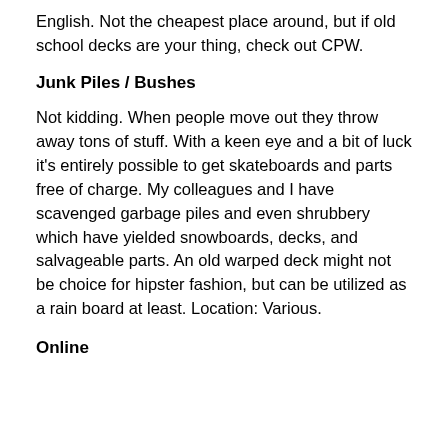English. Not the cheapest place around, but if old school decks are your thing, check out CPW.
Junk Piles / Bushes
Not kidding. When people move out they throw away tons of stuff. With a keen eye and a bit of luck it's entirely possible to get skateboards and parts free of charge. My colleagues and I have scavenged garbage piles and even shrubbery which have yielded snowboards, decks, and salvageable parts. An old warped deck might not be choice for hipster fashion, but can be utilized as a rain board at least. Location: Various.
Online